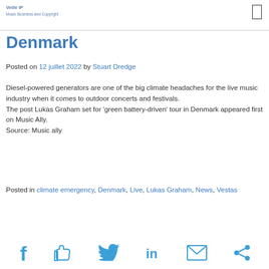Veille IP
Music Business and Copyright
Denmark
Posted on 12 juillet 2022 by Stuart Dredge
Diesel-powered generators are one of the big climate headaches for the live music industry when it comes to outdoor concerts and festivals.
The post Lukas Graham set for 'green battery-driven' tour in Denmark appeared first on Music Ally.
Source: Music ally
Posted in climate emergency, Denmark, Live, Lukas Graham, News, Vestas
[Figure (infographic): Social sharing icons: Facebook, thumbs up/like, Twitter, LinkedIn, email, share]